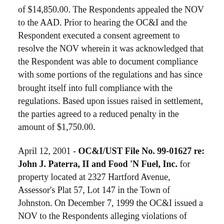of $14,850.00. The Respondents appealed the NOV to the AAD. Prior to hearing the OC&I and the Respondent executed a consent agreement to resolve the NOV wherein it was acknowledged that the Respondent was able to document compliance with some portions of the regulations and has since brought itself into full compliance with the regulations. Based upon issues raised in settlement, the parties agreed to a reduced penalty in the amount of $1,750.00.
April 12, 2001 - OC&I/UST File No. 99-01627 re: John J. Paterra, II and Food 'N Fuel, Inc. for property located at 2327 Hartford Avenue, Assessor's Plat 57, Lot 147 in the Town of Johnston. On December 7, 1999 the OC&I issued a NOV to the Respondents alleging violations of Rhode Island's Water Pollution Control Law, RIDEM's Rules and Regulations for Groundwater Quality, the Oil Pollution Control Regulations and portions of RIDEM's UST Regulations. The violations pertain to the above-mentioned property falling in the form of